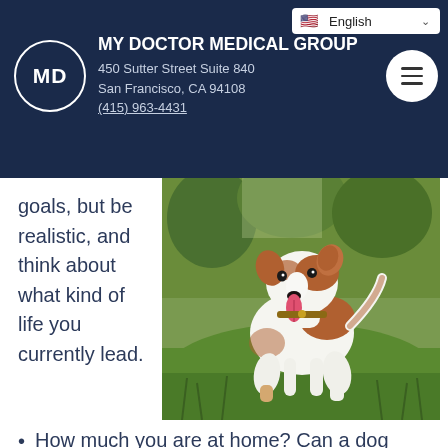MY DOCTOR MEDICAL GROUP
450 Sutter Street Suite 840
San Francisco, CA 94108
(415) 963-4431
goals, but be realistic, and think about what kind of life you currently lead.
[Figure (photo): A brown and white Jack Russell Terrier dog standing on grass, tongue out, wearing a collar, photographed outdoors.]
How much you are at home? Can a dog